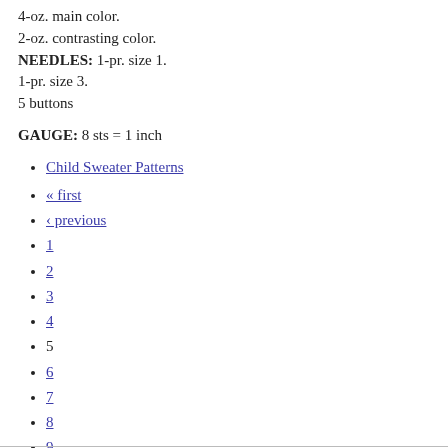4-oz. main color.
2-oz. contrasting color.
NEEDLES: 1-pr. size 1.
1-pr. size 3.
5 buttons
GAUGE: 8 sts = 1 inch
Child Sweater Patterns
« first
‹ previous
1
2
3
4
5
6
7
8
9
…
next ›
last »